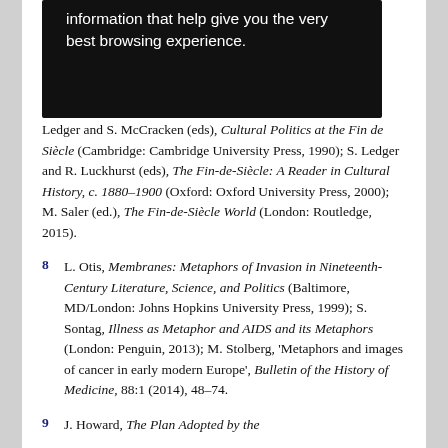information that help give you the very best browsing experience.
Ledger and S. McCracken (eds), Cultural Politics at the Fin de Siècle (Cambridge: Cambridge University Press, 1990); S. Ledger and R. Luckhurst (eds), The Fin-de-Siècle: A Reader in Cultural History, c. 1880–1900 (Oxford: Oxford University Press, 2000); M. Saler (ed.), The Fin-de-Siècle World (London: Routledge, 2015).
8  L. Otis, Membranes: Metaphors of Invasion in Nineteenth-Century Literature, Science, and Politics (Baltimore, MD/London: Johns Hopkins University Press, 1999); S. Sontag, Illness as Metaphor and AIDS and its Metaphors (London: Penguin, 2013); M. Stolberg, 'Metaphors and images of cancer in early modern Europe', Bulletin of the History of Medicine, 88:1 (2014), 48–74.
9  J. Howard, The Plan Adopted by the…